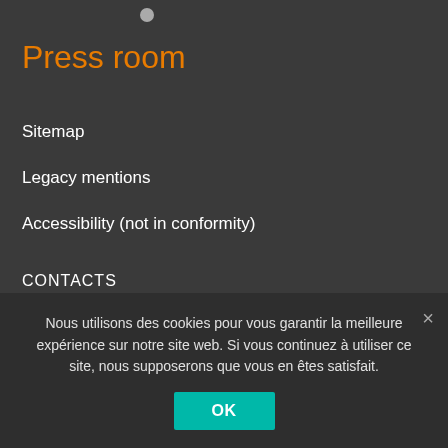Press room
Sitemap
Legacy mentions
Accessibility (not in conformity)
CONTACTS
Ask your question to the Inserm press office :
ACCESS THE FORM
Nous utilisons des cookies pour vous garantir la meilleure expérience sur notre site web. Si vous continuez à utiliser ce site, nous supposerons que vous en êtes satisfait.
OK